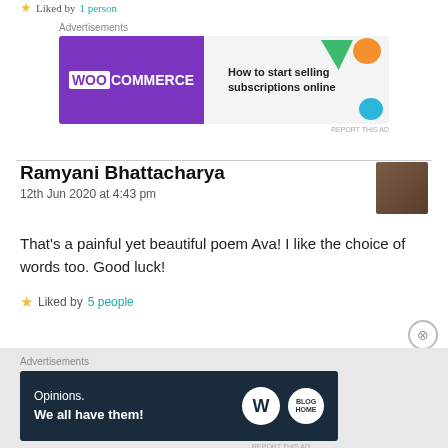Liked by 1 person
[Figure (screenshot): WooCommerce advertisement banner: 'How to start selling subscriptions online']
Ramyani Bhattacharya
12th Jun 2020 at 4:43 pm
That's a painful yet beautiful poem Ava! I like the choice of words too. Good luck!
Liked by 5 people
[Figure (screenshot): WordPress advertisement banner: 'Opinions. We all have them!']